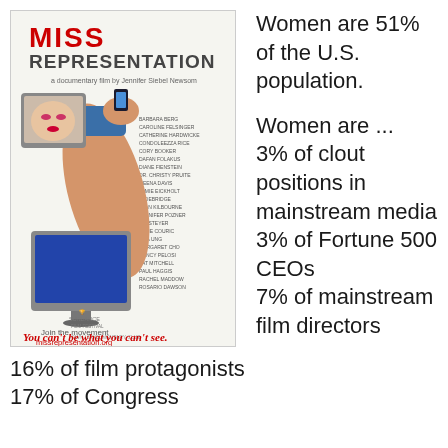[Figure (photo): Movie poster for 'Miss Representation', a documentary film by Jennifer Siebel Newsom. Features a woman's flexed arm holding a smartphone, with a face on a tablet screen and a TV monitor. Text reads 'You can't be what you can't see.' Sundance Film Festival laurels shown. missrepresentation.org.]
Women are 51% of the U.S. population.

Women are ... 3% of clout positions in mainstream media
3% of Fortune 500 CEOs
7% of mainstream film directors
16% of film protagonists
17% of Congress